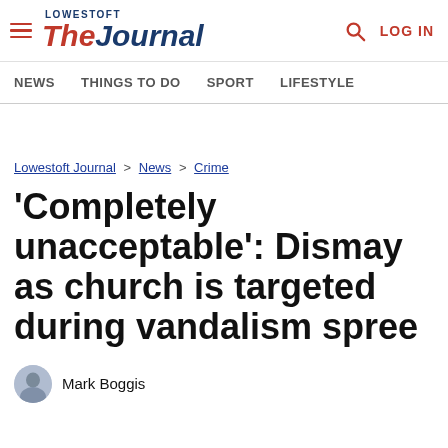Lowestoft The Journal — LOG IN
NEWS  THINGS TO DO  SPORT  LIFESTYLE
Lowestoft Journal > News > Crime
'Completely unacceptable': Dismay as church is targeted during vandalism spree
Mark Boggis